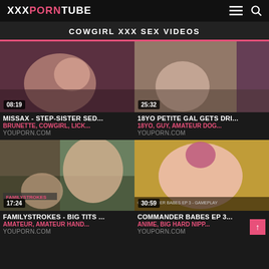XXXPORNTUBE
COWGIRL XXX SEX VIDEOS
[Figure (screenshot): Video thumbnail showing brunette woman, duration 08:19]
MISSAX - STEP-SISTER SED...
BRUNETTE, COWGIRL, LICK...
YOUPORN.COM
[Figure (screenshot): Video thumbnail showing young woman, duration 25:32]
18YO PETITE GAL GETS DRI...
18YO, GUY, AMATEUR DOG...
YOUPORN.COM
[Figure (screenshot): Video thumbnail showing FamilyStrokes scene, duration 17:24]
FAMILYSTROKES - BIG TITS ...
AMATEUR, AMATEUR HAND...
YOUPORN.COM
[Figure (screenshot): Anime video thumbnail, duration 30:59]
COMMANDER BABES EP 3...
ANIME, BIG HARD NIPP...
YOUPORN.COM